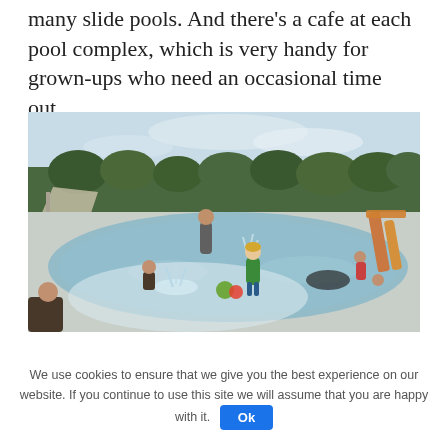many slide pools. And there's a cafe at each pool complex, which is very handy for grown-ups who need an occasional time out.
[Figure (photo): Outdoor pool complex with children and adults playing in shallow water. A child in a green wetsuit stands in the foreground. Water fountains and a water slide visible in the background, surrounded by trees under a hazy sky.]
We use cookies to ensure that we give you the best experience on our website. If you continue to use this site we will assume that you are happy with it.